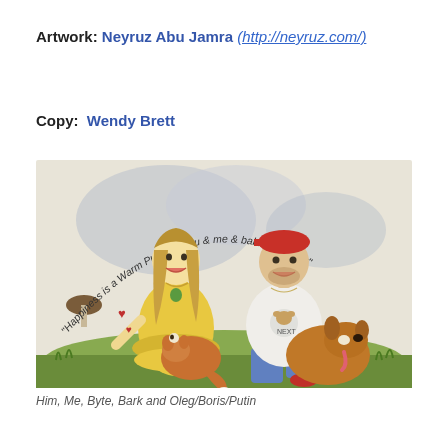Artwork: Neyruz Abu Jamra (http://neyruz.com/)
Copy: Wendy Brett
[Figure (illustration): Watercolor illustration of a couple sitting on grass with two dogs (Byte and Bark/Oleg/Boris/Putin). The woman has long blonde hair and wears a yellow dress; the man wears a red cap and white t-shirt. Text arcs around them: 'Happiness is a Warm Puppy... You & me & babies so furry']
Him, Me, Byte, Bark and Oleg/Boris/Putin